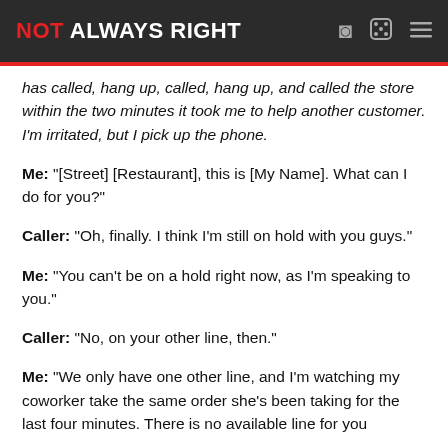NOT ALWAYS RIGHT
has called, hang up, called, hang up, and called the store within the two minutes it took me to help another customer. I'm irritated, but I pick up the phone.
Me: "[Street] [Restaurant], this is [My Name]. What can I do for you?"
Caller: "Oh, finally. I think I'm still on hold with you guys."
Me: "You can't be on a hold right now, as I'm speaking to you."
Caller: "No, on your other line, then."
Me: "We only have one other line, and I'm watching my coworker take the same order she's been taking for the last four minutes. There is no available line for you